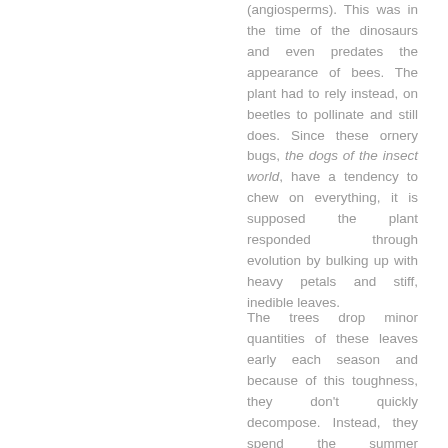(angiosperms). This was in the time of the dinosaurs and even predates the appearance of bees. The plant had to rely instead, on beetles to pollinate and still does. Since these ornery bugs, the dogs of the insect world, have a tendency to chew on everything, it is supposed the plant responded through evolution by bulking up with heavy petals and stiff, inedible leaves.
The trees drop minor quantities of these leaves early each season and because of this toughness, they don't quickly decompose. Instead, they spend the summer bleaching in the sun and drifting across the lawns. From a distance they can fool the overly fastidious, zero-litter-tolerant park ranger, making them think the leaves are litter and erroneously going after the trees as not being in character.